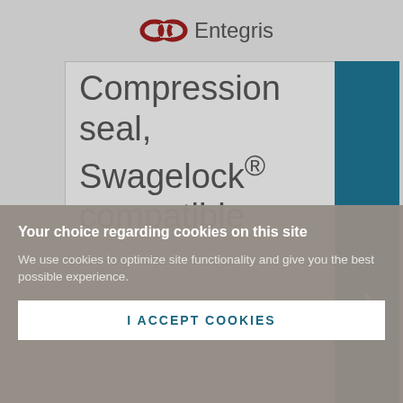Entegris
Compression seal, Swagelock® compatible
Your choice regarding cookies on this site
We use cookies to optimize site functionality and give you the best possible experience.
I ACCEPT COOKIES